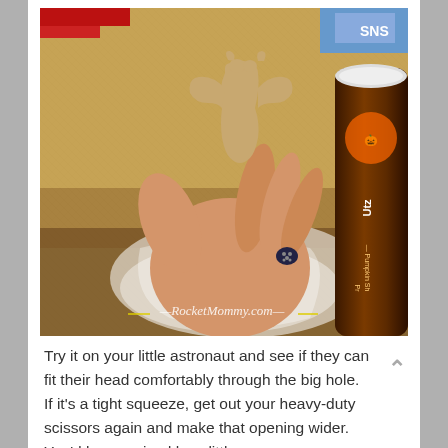[Figure (photo): A hand holding a tan/beige bat-shaped plastic or gelatin cutout. The hand has decorated nails with dark polish. In the background is a table with a woven mat, and on the right side is a container of Utz Halloween Pumpkin Shapes pretzels. A watermark reads 'RocketMommy.com' in cursive at the bottom of the photo.]
Try it on your little astronaut and see if they can fit their head comfortably through the big hole.  If it's a tight squeeze, get out your heavy-duty scissors again and make that opening wider. You'd be surprised how little